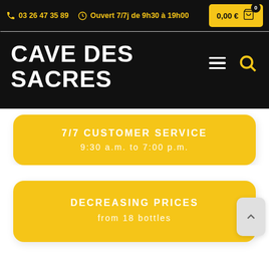03 26 47 35 89   Ouvert 7/7j de 9h30 à 19h00   0,00 €
CAVE DES SACRES
7/7 CUSTOMER SERVICE
9:30 a.m. to 7:00 p.m.
DECREASING PRICES
from 18 bottles